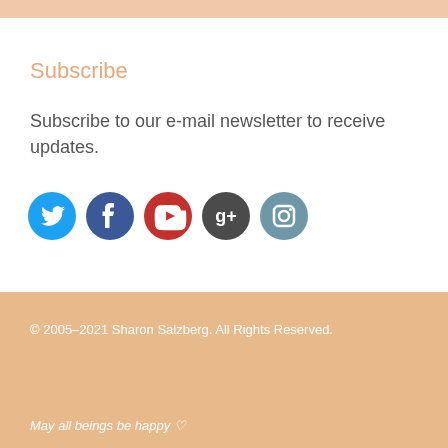Subscribe
Subscribe to our e-mail newsletter to receive updates.
[Figure (infographic): Row of five social media icon circles: Twitter (blue), Facebook (dark blue), YouTube (red), Google+ (dark gray), Instagram (steel blue)]
© 2005–2021 Sharon Salzberg. All Rights Reserved.
May all beings be happy ♡